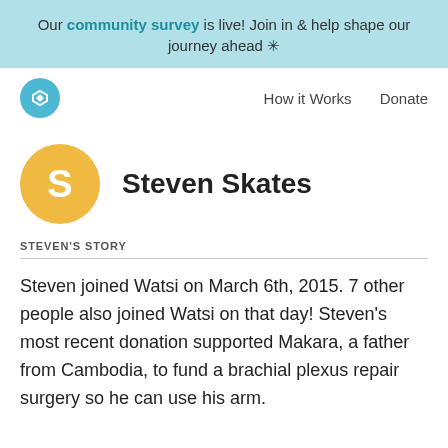Our community survey is live! Join in & help shape our journey ahead *
[Figure (logo): Watsi logo circle with W icon in teal]
How it Works   Donate
[Figure (illustration): Gold circle avatar with letter S]
Steven Skates
STEVEN'S STORY
Steven joined Watsi on March 6th, 2015. 7 other people also joined Watsi on that day! Steven's most recent donation supported Makara, a father from Cambodia, to fund a brachial plexus repair surgery so he can use his arm.